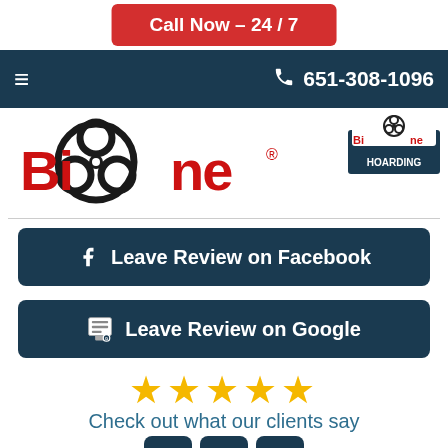Call Now – 24 / 7
651-308-1096
[Figure (logo): Bio-One biohazard cleanup company logo with red text and black biohazard symbol]
[Figure (logo): Bio-One Hoarding badge/logo in top right]
Leave Review on Facebook
Leave Review on Google
[Figure (infographic): Five gold/orange star rating]
Check out what our clients say
[Figure (infographic): Social media icons row: YouTube, Google My Business, LinkedIn]